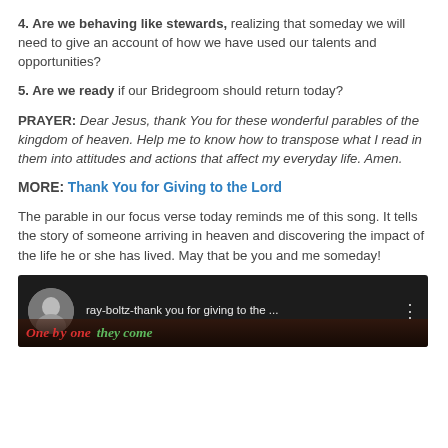4. Are we behaving like stewards, realizing that someday we will need to give an account of how we have used our talents and opportunities?
5. Are we ready if our Bridegroom should return today?
PRAYER: Dear Jesus, thank You for these wonderful parables of the kingdom of heaven. Help me to know how to transpose what I read in them into attitudes and actions that affect my everyday life. Amen.
MORE: Thank You for Giving to the Lord
The parable in our focus verse today reminds me of this song. It tells the story of someone arriving in heaven and discovering the impact of the life he or she has lived. May that be you and me someday!
[Figure (screenshot): YouTube video thumbnail showing Ray Boltz with title 'ray-boltz-thank you for giving to the...' and partial text 'One by one they come' overlaid]